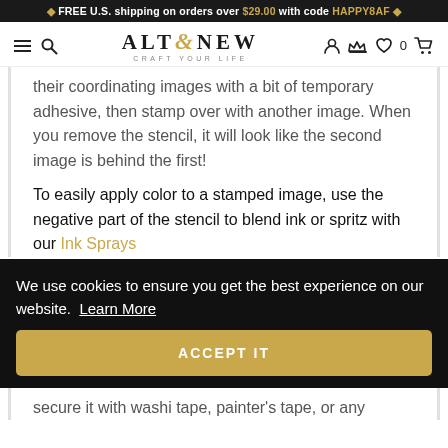🔷 FREE U.S. shipping on orders over $29.00 with code HAPPY8AF 🔷
[Figure (logo): Altenew logo with hamburger menu, search icon, user icon, crown icon, heart/wishlist icon with 0 count, and cart icon. Logo text reads ALTENEW with decorative ampersand. Tagline: CRAFT YOUR LIFE]
their coordinating images with a bit of temporary adhesive, then stamp over with another image. When you remove the stencil, it will look like the second image is behind the first!
To easily apply color to a stamped image, use the negative part of the stencil to blend ink or spritz with our Ink Sprays
We use cookies to ensure you get the best experience on our website.  Learn More
ACCEPT IT
secure it with washi tape, painter's tape, or any